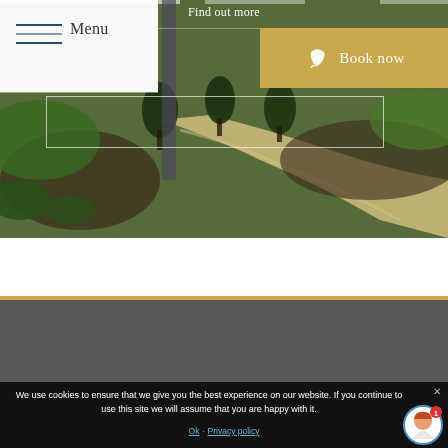[Figure (screenshot): Website screenshot showing a garden/landscape photo with navigation menu, 'Find out more' link, 'Book now' button in gold, a cookie consent banner at the bottom, and an avatar chat widget.]
Find out more
Menu
Book now
We use cookies to ensure that we give you the best experience on our website. If you continue to use this site we will assume that you are happy with it.
Ok · Privacy policy